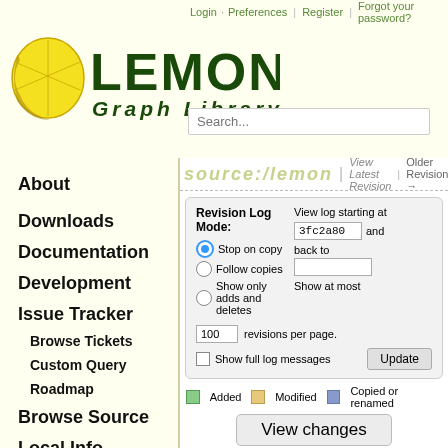Login · Preferences | Register | Forgot your password?
[Figure (logo): LEMON Graph Library logo with lemon graphic]
Search...
About
Downloads
Documentation
Development
Issue Tracker
Browse Tickets
Custom Query
Roadmap
Browse Source
Local Info
Mailing Lists
source:/lemon
View Latest Revision | Older Revisions →
Revision Log Mode: Stop on copy / Follow copies / Show only adds and deletes. View log starting at 3fc2a80 and back to. Show at most. 100 revisions per page. Show full log messages. Update
Added   Modified   Copied or renamed
View changes
| Graph | Diff | Re... |
| --- | --- | --- |
| (graph) | ○ ● | @77 |
| (graph) | ○ ○ | @77 |
| (graph) | ○ ○ | @77 |